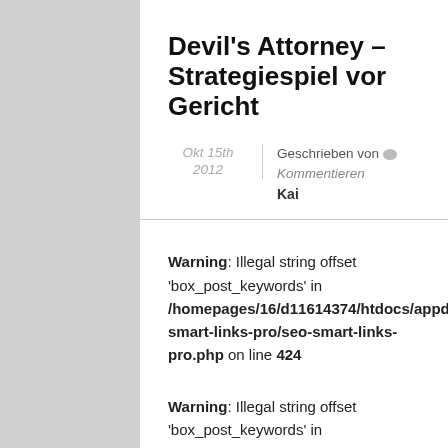Devil's Attorney – Strategiespiel vor Gericht
Okt 15th 2012 | Geschrieben von Kommentieren | Kai
Warning: Illegal string offset 'box_post_keywords' in /homepages/16/d11614374/htdocs/appdata/wp-content/plugins/seo-smart-links-pro/seo-smart-links-pro.php on line 424
Warning: Illegal string offset 'box_post_keywords' in